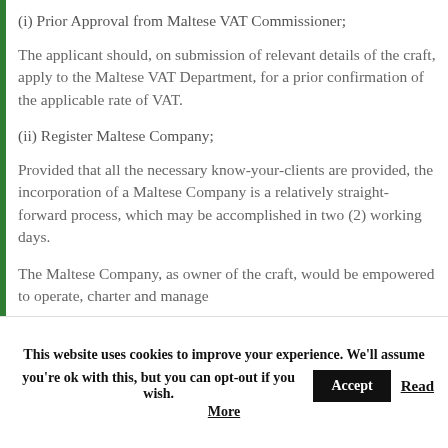(i) Prior Approval from Maltese VAT Commissioner;
The applicant should, on submission of relevant details of the craft, apply to the Maltese VAT Department, for a prior confirmation of the applicable rate of VAT.
(ii) Register Maltese Company;
Provided that all the necessary know-your-clients are provided, the incorporation of a Maltese Company is a relatively straight-forward process, which may be accomplished in two (2) working days.
The Maltese Company, as owner of the craft, would be empowered to operate, charter and manage
This website uses cookies to improve your experience. We'll assume you're ok with this, but you can opt-out if you wish. Accept Read More